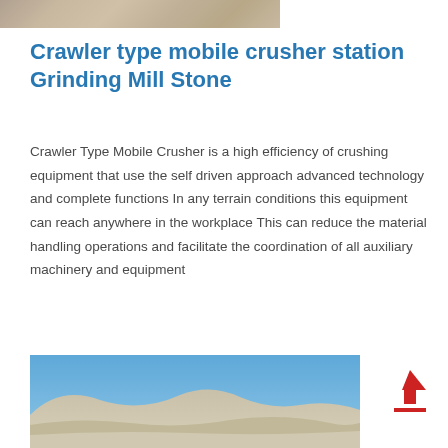[Figure (photo): Partial view of a construction or industrial machine at the top of the page]
Crawler type mobile crusher station Grinding Mill Stone
Crawler Type Mobile Crusher is a high efficiency of crushing equipment that use the self driven approach advanced technology and complete functions In any terrain conditions this equipment can reach anywhere in the workplace This can reduce the material handling operations and facilitate the coordination of all auxiliary machinery and equipment
[Figure (photo): Outdoor quarry or mining site with desert hills and blue sky, showing rocky terrain]